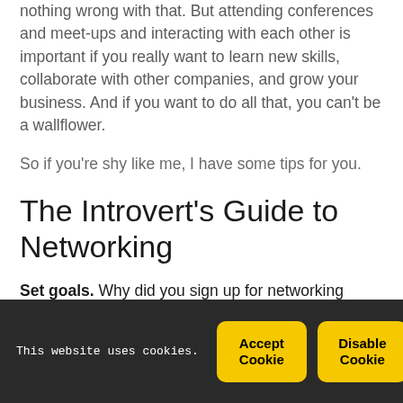nothing wrong with that. But attending conferences and meet-ups and interacting with each other is important if you really want to learn new skills, collaborate with other companies, and grow your business. And if you want to do all that, you can't be a wallflower.
So if you're shy like me, I have some tips for you.
The Introvert's Guide to Networking
Set goals. Why did you sign up for networking event?
This website uses cookies.
Accept Cookie
Disable Cookie